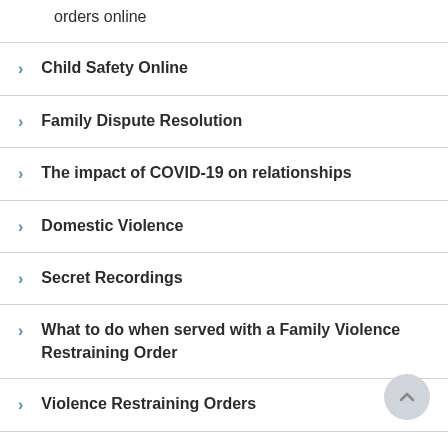orders online
Child Safety Online
Family Dispute Resolution
The impact of COVID-19 on relationships
Domestic Violence
Secret Recordings
What to do when served with a Family Violence Restraining Order
Violence Restraining Orders